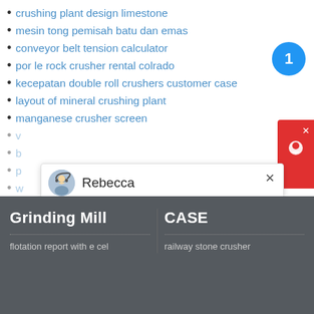crushing plant design limestone
mesin tong pemisah batu dan emas
conveyor belt tension calculator
por le rock crusher rental colrado
kecepatan double roll crushers customer case
layout of mineral crushing plant
manganese crusher screen
v...
b...
p...
w...
micronized mineral zeolite mill manufacturer
gharghanti quality grinding stone
Welcome to Liming Heavy Industry! Now our on-line service is chatting with you! Please choose the language
Rebecca
Grinding Mill
CASE
flotation report with e cel
railway stone crusher